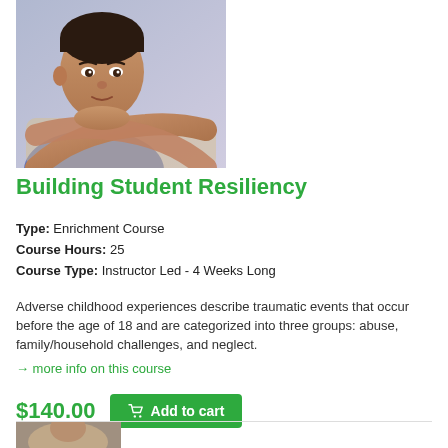[Figure (photo): A young boy resting his chin on his crossed arms, looking contemplative, with a bluish background.]
Building Student Resiliency
Type: Enrichment Course
Course Hours: 25
Course Type: Instructor Led - 4 Weeks Long
Adverse childhood experiences describe traumatic events that occur before the age of 18 and are categorized into three groups: abuse, family/household challenges, and neglect.
→ more info on this course
$140.00  Add to cart
[Figure (photo): Bottom of page partial photo, another course image.]